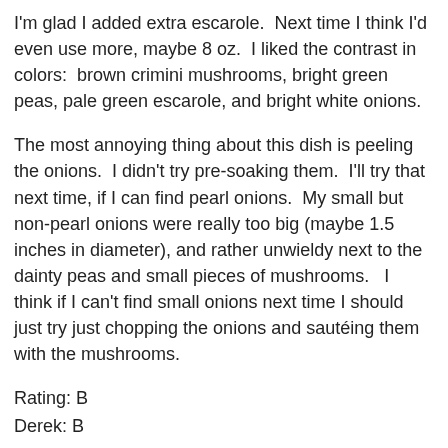I'm glad I added extra escarole.  Next time I think I'd even use more, maybe 8 oz.  I liked the contrast in colors:  brown crimini mushrooms, bright green peas, pale green escarole, and bright white onions.
The most annoying thing about this dish is peeling the onions.  I didn't try pre-soaking them.  I'll try that next time, if I can find pearl onions.  My small but non-pearl onions were really too big (maybe 1.5 inches in diameter), and rather unwieldy next to the dainty peas and small pieces of mushrooms.   I think if I can't find small onions next time I should just try just chopping the onions and sautéing them with the mushrooms.
Rating: B
Derek: B